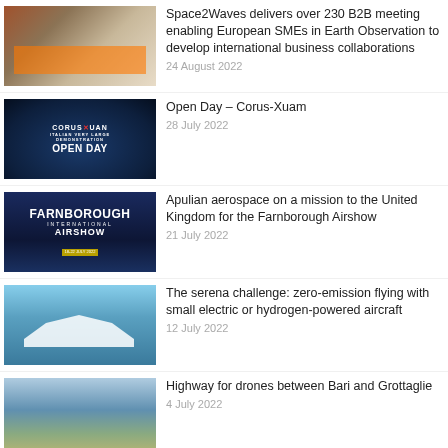[Figure (photo): Group of people standing behind an orange rope barrier at an event]
Space2Waves delivers over 230 B2B meeting enabling European SMEs in Earth Observation to develop international business collaborations
24 August 2022
[Figure (photo): Corus-Xuam Open Day promotional graphic with dark blue background]
Open Day – Corus-Xuam
28 July 2022
[Figure (photo): Farnborough International Airshow promotional graphic with dark blue background]
Apulian aerospace on a mission to the United Kingdom for the Farnborough Airshow
21 July 2022
[Figure (photo): White seaplane or flying boat skimming over water]
The serena challenge: zero-emission flying with small electric or hydrogen-powered aircraft
12 July 2022
[Figure (photo): Aerial view of a coastal city, harbor and bay]
Highway for drones between Bari and Grottaglie
4 July 2022